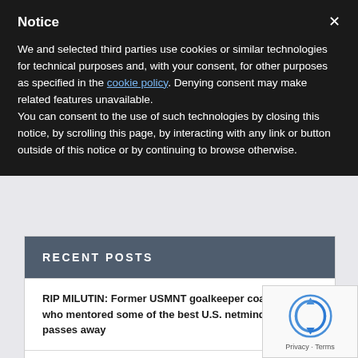Notice
We and selected third parties use cookies or similar technologies for technical purposes and, with your consent, for other purposes as specified in the cookie policy. Denying consent may make related features unavailable.
You can consent to the use of such technologies by closing this notice, by scrolling this page, by interacting with any link or button outside of this notice or by continuing to browse otherwise.
RECENT POSTS
RIP MILUTIN: Former USMNT goalkeeper coach Soskic, who mentored some of the best U.S. netminders, passes away
MANY SHOTS, NO GOALS: St. John's men blanked home